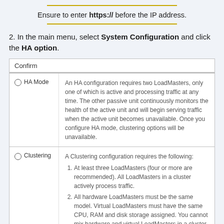Ensure to enter https:// before the IP address.
2. In the main menu, select System Configuration and click the HA option.
|  | Confirm |
| --- | --- |
| HA Mode | An HA configuration requires two LoadMasters, only one of which is active and processing traffic at any time. The other passive unit continuously monitors the health of the active unit and will begin serving traffic when the active unit becomes unavailable. Once you configure HA mode, clustering options will be unavailable. |
| Clustering | A Clustering configuration requires the following:
1. At least three LoadMasters (four or more are recommended). All LoadMasters in a cluster actively process traffic.
2. All hardware LoadMasters must be the same model. Virtual LoadMasters must have the same CPU, RAM and disk storage assigned. You cannot mix hardware and virtual LoadMasters in a cluster.
3. All LoadMasters should be set to use a factory default... |